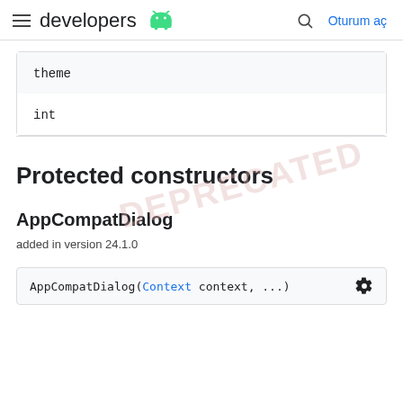developers [Android logo] | Oturum aç
| theme | int |
| --- | --- |
| theme |
| int |
Protected constructors
AppCompatDialog
added in version 24.1.0
AppCompatDialog(Context context, ...)